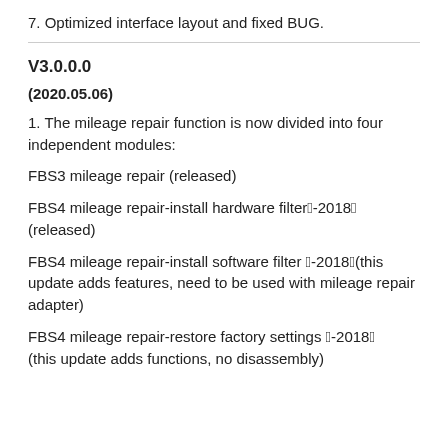7. Optimized interface layout and fixed BUG.
V3.0.0.0
(2020.05.06)
1. The mileage repair function is now divided into four independent modules:
FBS3 mileage repair (released)
FBS4 mileage repair-install hardware filter（-2018）(released)
FBS4 mileage repair-install software filter （-2018）(this update adds features, need to be used with mileage repair adapter)
FBS4 mileage repair-restore factory settings （-2018）(this update adds functions, no disassembly)